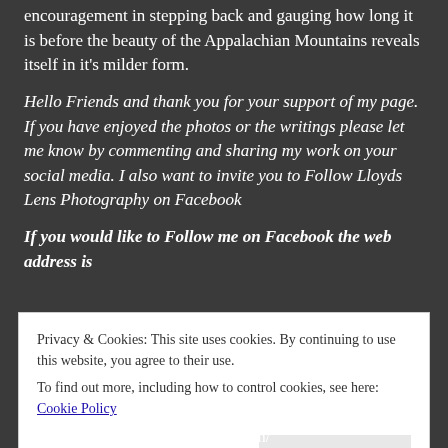encouragement in stepping back and gauging how long it is before the beauty of the Appalachian Mountains reveals itself in it's milder form.
Hello Friends and thank you for your support of my page. If you have enjoyed the photos or the writings please let me know by commenting and sharing my work on your social media. I also want to invite you to Follow Lloyds Lens Photography on Facebook
If you would like to Follow me on Facebook the web address is
Privacy & Cookies: This site uses cookies. By continuing to use this website, you agree to their use.
To find out more, including how to control cookies, see here: Cookie Policy
Close and accept
https://lloydslensphoto graphylle.com/